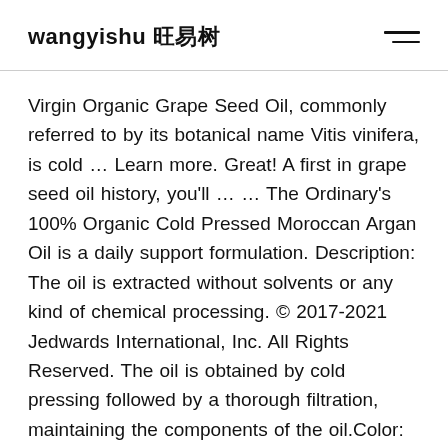wangyishu 旺易树
Virgin Organic Grape Seed Oil, commonly referred to by its botanical name Vitis vinifera, is cold … Learn more. Great! A first in grape seed oil history, you'll … … The Ordinary's 100% Organic Cold Pressed Moroccan Argan Oil is a daily support formulation. Description: The oil is extracted without solvents or any kind of chemical processing. © 2017-2021 Jedwards International, Inc. All Rights Reserved. The oil is obtained by cold pressing followed by a thorough filtration, maintaining the components of the oil.Color: Dark yellow green liquid Aromatic Description: Grapeseed